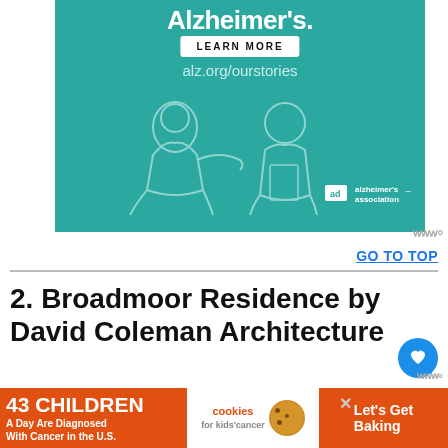[Figure (illustration): Alzheimer's Association advertisement on teal background showing two illustrated elderly people, a LEARN MORE button, alz.org/ourstories URL, and Alzheimer's Association logo with 'ad' badge]
GO TO TOP
2. Broadmoor Residence by David Coleman Architecture
[Figure (photo): Partial photo of a residential building exterior with autumn trees and blue sky visible]
[Figure (illustration): Bottom advertisement banner: '43 CHILDREN A Day Are Diagnosed With Cancer in the U.S.' with cookies for kids' cancer logo and 'Let's Get Baking' text on orange/dark background]